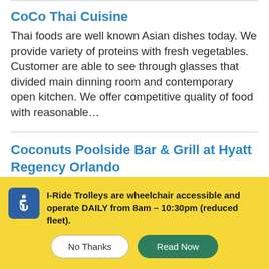CoCo Thai Cuisine
Thai foods are well known Asian dishes today. We provide variety of proteins with fresh vegetables. Customer are able to see through glasses that divided main dinning room and contemporary open kitchen. We offer competitive quality of food with reasonable...
Coconuts Poolside Bar & Grill at Hyatt Regency Orlando
I-Ride Trolleys are wheelchair accessible and operate DAILY from 8am – 10:30pm (reduced fleet).
No Thanks  Read Now